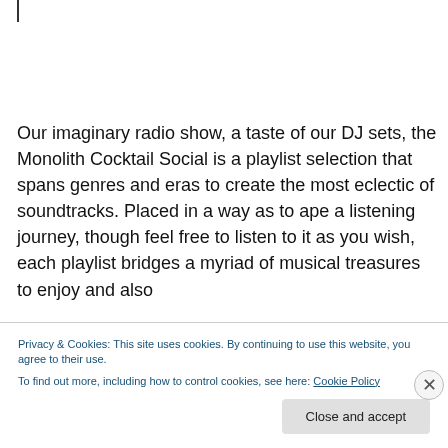Our imaginary radio show, a taste of our DJ sets, the Monolith Cocktail Social is a playlist selection that spans genres and eras to create the most eclectic of soundtracks. Placed in a way as to ape a listening journey, though feel free to listen to it as you wish, each playlist bridges a myriad of musical treasures to enjoy and also
Privacy & Cookies: This site uses cookies. By continuing to use this website, you agree to their use.
To find out more, including how to control cookies, see here: Cookie Policy
Close and accept